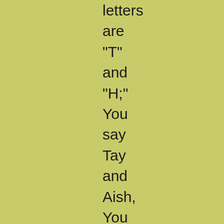letters
are
"T"
and
"H;"
You
say
Tay
and
Aish,
You
Know;
(still
with
clemency).
The
sound
is  "th"
- "th!"